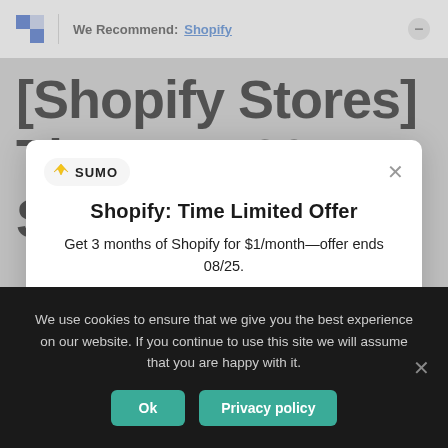We Recommend: Shopify
[Shopify Stores] The Best 30 Shopify
[Figure (screenshot): Sumo popup modal with title 'Shopify: Time Limited Offer', body text 'Get 3 months of Shopify for $1/month—offer ends 08/25.', and a pink 'Start Free Trial' button]
We use cookies to ensure that we give you the best experience on our website. If you continue to use this site we will assume that you are happy with it.